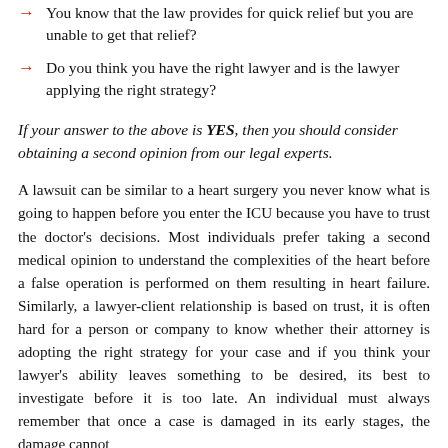You know that the law provides for quick relief but you are unable to get that relief?
Do you think you have the right lawyer and is the lawyer applying the right strategy?
If your answer to the above is YES, then you should consider obtaining a second opinion from our legal experts.
A lawsuit can be similar to a heart surgery you never know what is going to happen before you enter the ICU because you have to trust the doctor’s decisions. Most individuals prefer taking a second medical opinion to understand the complexities of the heart before a false operation is performed on them resulting in heart failure. Similarly, a lawyer-client relationship is based on trust, it is often hard for a person or company to know whether their attorney is adopting the right strategy for your case and if you think your lawyer’s ability leaves something to be desired, its best to investigate before it is too late. An individual must always remember that once a case is damaged in its early stages, the damage cannot